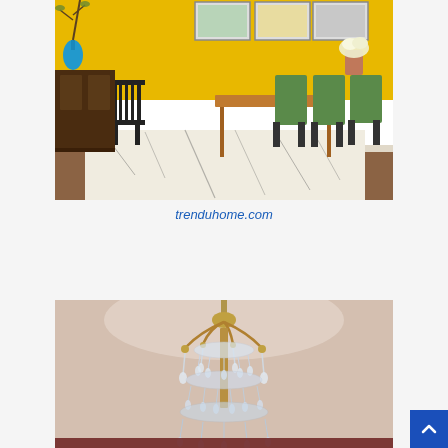[Figure (photo): Interior dining room with yellow walls, green chairs, wooden dining table, black spindle chair on left, blue lamp, patterned shaggy rug, and framed artwork on wall.]
trenduhome.com
[Figure (photo): Crystal chandelier hanging from a beige ceiling, viewed from below showing the tiered crystal drops and brass curved arms.]